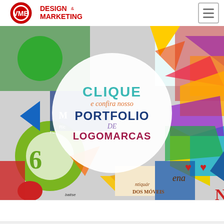[Figure (logo): VMB Design & Marketing logo with red circular VMB icon and red text 'DESIGN & MARKETING']
[Figure (infographic): Banner with colorful logo collage background and a central white circle containing the text: CLIQUE / e confira nosso / PORTFOLIO / DE / LOGOMARCAS]